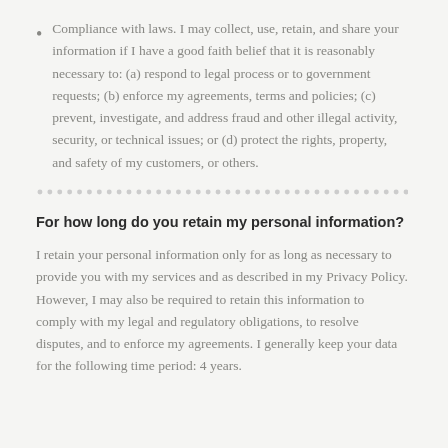Compliance with laws. I may collect, use, retain, and share your information if I have a good faith belief that it is reasonably necessary to: (a) respond to legal process or to government requests; (b) enforce my agreements, terms and policies; (c) prevent, investigate, and address fraud and other illegal activity, security, or technical issues; or (d) protect the rights, property, and safety of my customers, or others.
For how long do you retain my personal information?
I retain your personal information only for as long as necessary to provide you with my services and as described in my Privacy Policy. However, I may also be required to retain this information to comply with my legal and regulatory obligations, to resolve disputes, and to enforce my agreements. I generally keep your data for the following time period: 4 years.